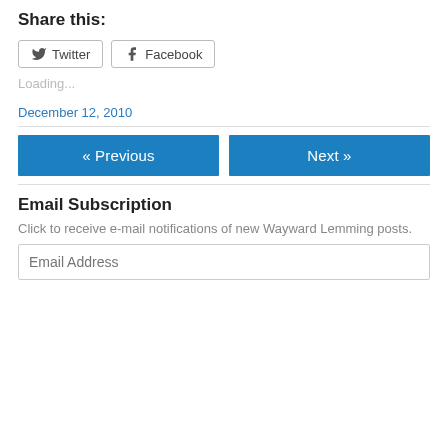Share this:
Twitter  Facebook
Loading...
December 12, 2010
« Previous
Next »
Email Subscription
Click to receive e-mail notifications of new Wayward Lemming posts.
Email Address